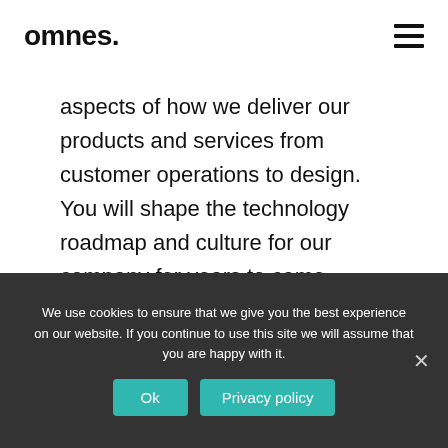omnes.
aspects of how we deliver our products and services from customer operations to design.
You will shape the technology roadmap and culture for our company for years to come
You will lead the build-out and scaling of our enterprise systems and products.
We use cookies to ensure that we give you the best experience on our website. If you continue to use this site we will assume that you are happy with it.